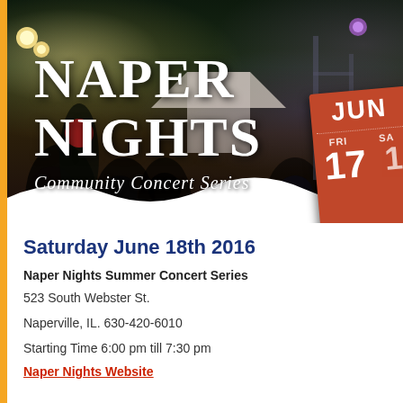[Figure (photo): Outdoor night concert event photo showing crowd silhouettes and stage lights, with 'NAPER NIGHTS Community Concert Series' text overlay and a red date badge showing JUN FRI 17 / SA 1]
Saturday June 18th 2016
Naper Nights Summer Concert Series
523 South Webster St.
Naperville, IL. 630-420-6010
Starting Time 6:00 pm till 7:30 pm
Naper Nights Website